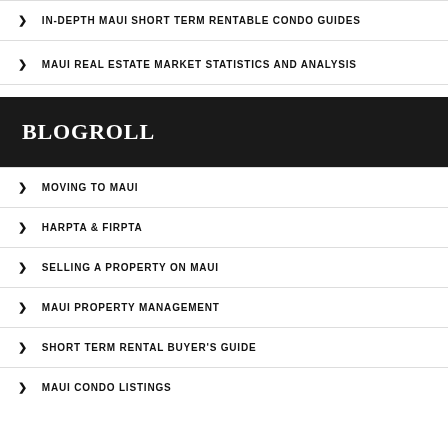IN-DEPTH MAUI SHORT TERM RENTABLE CONDO GUIDES
MAUI REAL ESTATE MARKET STATISTICS AND ANALYSIS
BLOGROLL
MOVING TO MAUI
HARPTA & FIRPTA
SELLING A PROPERTY ON MAUI
MAUI PROPERTY MANAGEMENT
SHORT TERM RENTAL BUYER'S GUIDE
MAUI CONDO LISTINGS